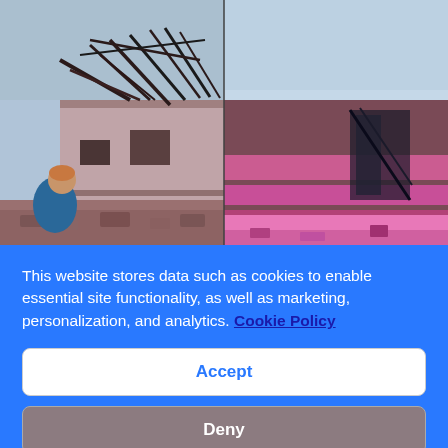[Figure (photo): Split image: left half shows a photograph of a bombed/burned-out ruined building with collapsed roof timbers and a child in blue crouching in the rubble; right half shows a painted/artistic interpretation of the same scene with pink and magenta hues against a blue-grey sky.]
This website stores data such as cookies to enable essential site functionality, as well as marketing, personalization, and analytics. Cookie Policy
Accept
Deny